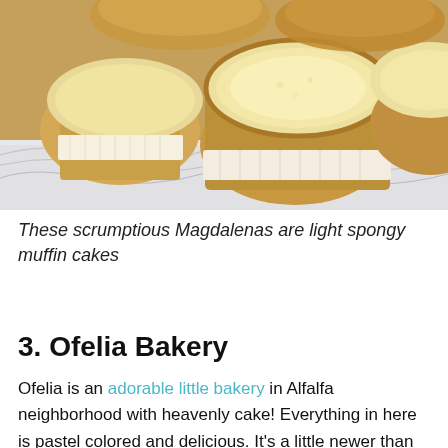[Figure (photo): Close-up photo of Magdalena muffin cakes cut in half, showing their light spongy texture, arranged in paper liners on white tissue paper.]
These scrumptious Magdalenas are light spongy muffin cakes
3. Ofelia Bakery
Ofelia is an adorable little bakery in Alfalfa neighborhood with heavenly cake! Everything in here is pastel colored and delicious. It's a little newer than some of the others on the list, but no less of a favorite! Chat to the friendly staff about